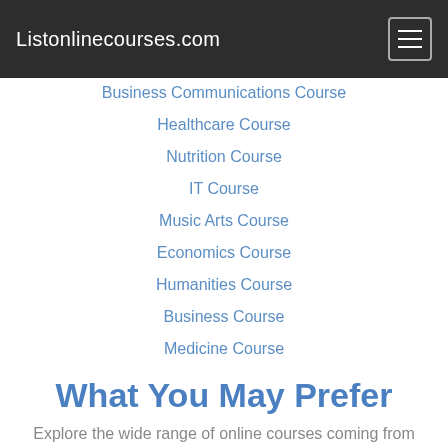Listonlinecourses.com
Business Communications Course
Healthcare Course
Nutrition Course
IT Course
Music Arts Course
Economics Course
Humanities Course
Business Course
Medicine Course
Ethics Course
What You May Prefer
Explore the wide range of online courses coming from different institutions, platforms, organizations,